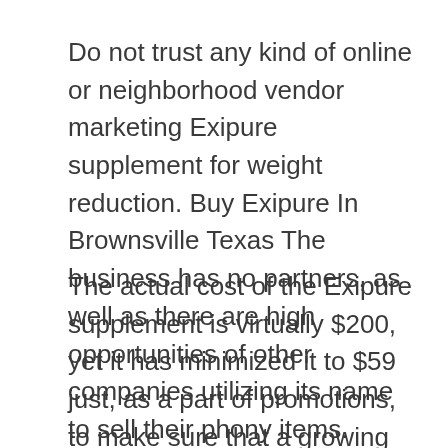Do not trust any kind of online or neighborhood vendor marketing Exipure supplement for weight reduction. Buy Exipure In Brownsville Texas The business has no partners, as well as there are high opportunities of other companies utilizing its name to sell their phony items. Always select the official internet site over the random online stores to make your acquisition.
The actual cost of the Exipure supplement is virtually $200, yet it has minimized it to $59 just, as a part of promotions, to make sure that a growing number of individuals can find out about it. Here are the complete pricing information.